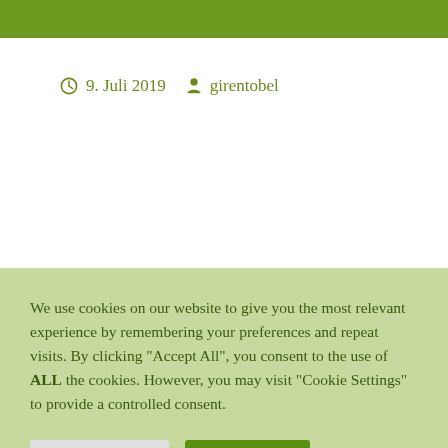9. Juli 2019   girentobel
We use cookies on our website to give you the most relevant experience by remembering your preferences and repeat visits. By clicking "Accept All", you consent to the use of ALL the cookies. However, you may visit "Cookie Settings" to provide a controlled consent.